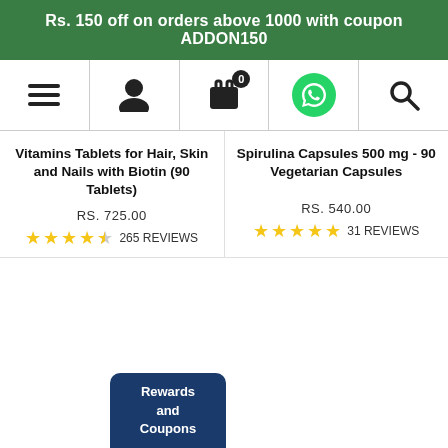Rs. 150 off on orders above 1000 with coupon ADDON150
[Figure (screenshot): Navigation bar with hamburger menu, user profile icon, shopping cart with badge 0, WhatsApp icon, and search icon]
Vitamins Tablets for Hair, Skin and Nails with Biotin (90 Tablets)
RS. 725.00
265 REVIEWS
Spirulina Capsules 500 mg - 90 Vegetarian Capsules
RS. 540.00
31 REVIEWS
Rewards and Coupons